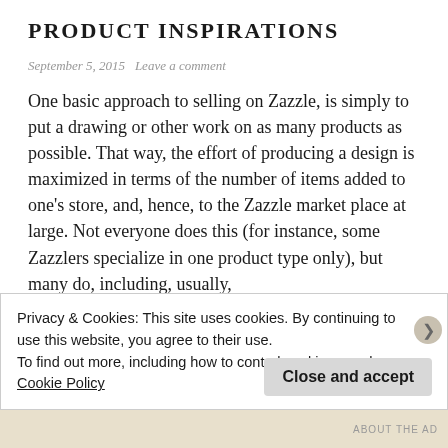PRODUCT INSPIRATIONS
September 5, 2015   Leave a comment
One basic approach to selling on Zazzle, is simply to put a drawing or other work on as many products as possible. That way, the effort of producing a design is maximized in terms of the number of items added to one's store, and, hence, to the Zazzle market place at large. Not everyone does this (for instance, some Zazzlers specialize in one product type only), but many do, including, usually,
Privacy & Cookies: This site uses cookies. By continuing to use this website, you agree to their use.
To find out more, including how to control cookies, see here: Cookie Policy
Close and accept